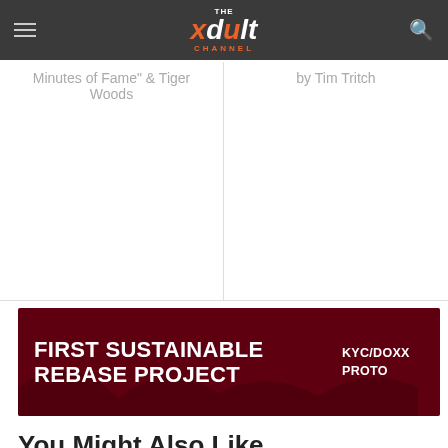The xdult Channel
Minutes of Fame" & Tiger Woods
by Tim Tritch
[Figure (screenshot): Advertisement banner: FIRST SUSTAINABLE REBASE PROJECT KYC/DOXX PROTO on dark red background]
You Might Also Like
2007-07-06
How Not to Date A Legendary Porn Star
2007-03-27
Jenna Needs Help